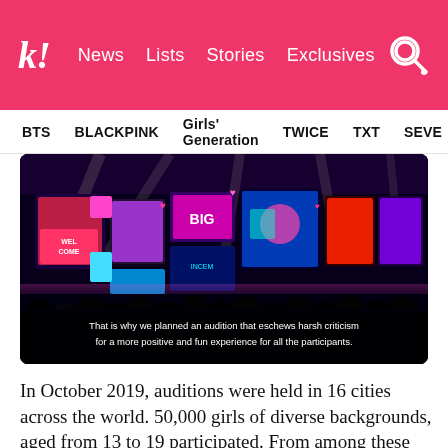k! News Lists Stories Exclusives
BTS BLACKPINK Girls' Generation TWICE TXT SEVE
[Figure (photo): Concert/event stage with colorful illuminated screens showing various artistic graphics. Crowd silhouettes visible in foreground. Subtitle text reads: 'That is why we planned an audition that eschews harsh criticism for a more positive and fun experience for all the participants.']
In October 2019, auditions were held in 16 cities across the world. 50,000 girls of diverse backgrounds, aged from 13 to 19 participated. From among these participants, Source Music chose a team that will debut as a new girl group in 2021.